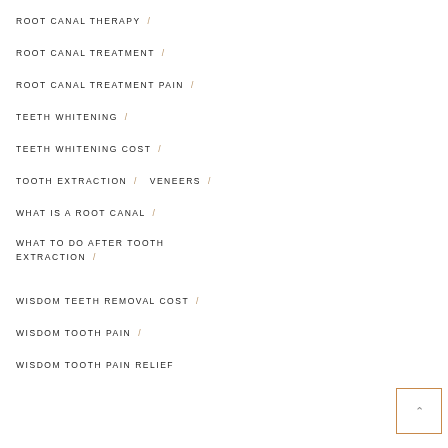ROOT CANAL THERAPY /
ROOT CANAL TREATMENT /
ROOT CANAL TREATMENT PAIN /
TEETH WHITENING /
TEETH WHITENING COST /
TOOTH EXTRACTION /  VENEERS /
WHAT IS A ROOT CANAL /
WHAT TO DO AFTER TOOTH EXTRACTION /
WISDOM TEETH REMOVAL COST /
WISDOM TOOTH PAIN /
WISDOM TOOTH PAIN RELIEF